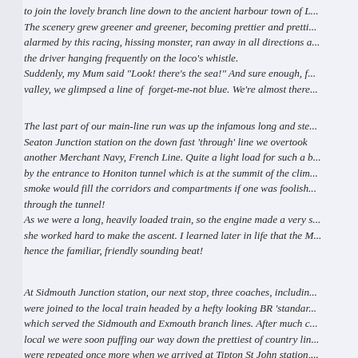to join the lovely branch line down to the ancient harbour town of L... The scenery grew greener and greener, becoming prettier and pretti... alarmed by this racing, hissing monster, ran away in all directions a... the driver hanging frequently on the loco's whistle. Suddenly, my Mum said "Look! there's the sea!" And sure enough, f... valley, we glimpsed a line of forget-me-not blue. We're almost there...
The last part of our main-line run was up the infamous long and ste... Seaton Junction station on the down fast 'through' line we overtook another Merchant Navy, French Line. Quite a light load for such a b... by the entrance to Honiton tunnel which is at the summit of the clim... smoke would fill the corridors and compartments if one was foolish... through the tunnel! As we were a long, heavily loaded train, so the engine made a very s... she worked hard to make the ascent. I learned later in life that the M... hence the familiar, friendly sounding beat!
At Sidmouth Junction station, our next stop, three coaches, includin... were joined to the local train headed by a hefty looking BR 'standar... which served the Sidmouth and Exmouth branch lines. After much c... local we were soon puffing our way down the prettiest of country lin... were repeated once more when we arrived at Tipton St John station,... front part of the train went off to the left for Sidmouth, but for us, we...